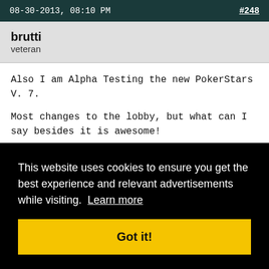08-30-2013, 08:10 PM   #248
brutti
veteran
Also I am Alpha Testing the new PokerStars V. 7.

Most changes to the lobby, but what can I say besides it is awesome!


Small Teaser:
This website uses cookies to ensure you get the best experience and relevant advertisements while visiting.  Learn more
Got it!
I had a good day, ending it now to play some Dota2 Games.